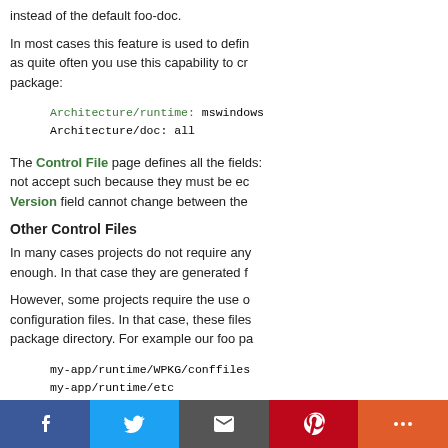instead of the default foo-doc.
In most cases this feature is used to define architecture-specific packages, as quite often you use this capability to create a documentation package:
Architecture/runtime: mswindows
Architecture/doc: all
The Control File page defines all the fields. Note that not all fields are not accept such because they must be equal for all architectures, e.g. the Version field cannot change between the
Other Control Files
In many cases projects do not require any configuration files. The control file is enough. In that case they are generated f
However, some projects require the use of additional configuration files. In that case, these files should be placed in the package directory. For example our foo pa
my-app/runtime/WPKG/conffiles
my-app/runtime/etc
my-app/runtime/etc/foo
my-app/runtime/etc/foo/foo.conf